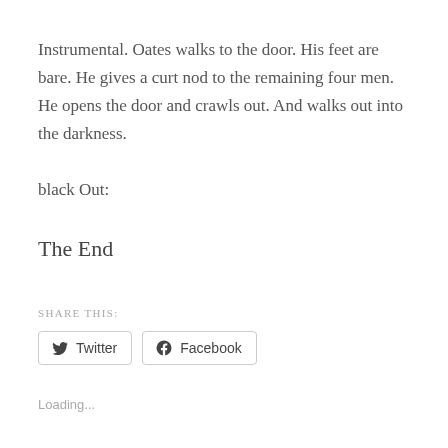Instrumental. Oates walks to the door. His feet are bare. He gives a curt nod to the remaining four men. He opens the door and crawls out. And walks out into the darkness.
black Out:
The End
SHARE THIS:
Twitter  Facebook
Loading...